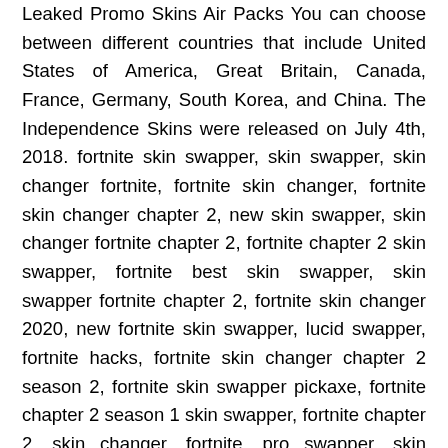Leaked Promo Skins Air Packs You can choose between different countries that include United States of America, Great Britain, Canada, France, Germany, South Korea, and China. The Independence Skins were released on July 4th, 2018. fortnite skin swapper, skin swapper, skin changer fortnite, fortnite skin changer, fortnite skin changer chapter 2, new skin swapper, skin changer fortnite chapter 2, fortnite chapter 2 skin swapper, fortnite best skin swapper, skin swapper fortnite chapter 2, fortnite skin changer 2020, new fortnite skin swapper, lucid swapper, fortnite hacks, fortnite skin changer chapter 2 season 2, fortnite skin swapper pickaxe, fortnite chapter 2 season 1 skin swapper, fortnite chapter 2, skin changer, fortnite, pro swapper, skin swapper fortnite, free skins, galaxy swapper, fortnite skin changer pc, best skin swapper, fortnite custom skin, bester skin changer, squidyman, how to get free skins in fortnite, new skin changer, free fortnite skins, fortnite pro swapper, how to get fortnite skin changer, how to get skin changer in fortnite, skin swapper